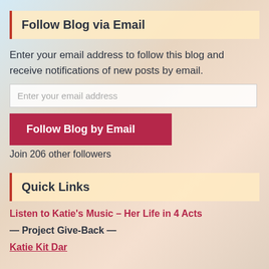Follow Blog via Email
Enter your email address to follow this blog and receive notifications of new posts by email.
Enter your email address
Follow Blog by Email
Join 206 other followers
Quick Links
Listen to Katie's Music – Her Life in 4 Acts
— Project Give-Back —
Katie Kit Darling